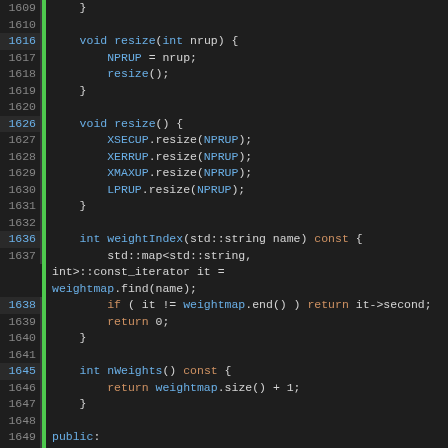[Figure (screenshot): Source code viewer showing C++ class code lines 1609-1665, with syntax highlighting: blue for type keywords and identifiers, orange for return/keywords, green for highlighted line numbers. Dark background IDE theme.]